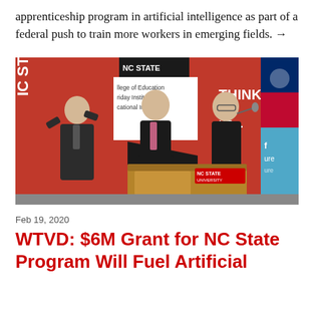apprenticeship program in artificial intelligence as part of a federal push to train more workers in emerging fields. →
[Figure (photo): Three men in suits at an NC State University podium; red banners with NC State branding visible in background; man at center speaks at microphone.]
Feb 19, 2020
WTVD: $6M Grant for NC State Program Will Fuel Artificial